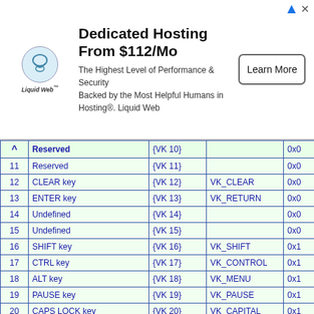[Figure (other): Advertisement banner: Dedicated Hosting From $112/Mo - Liquid Web logo, text about highest level of performance and security, Learn More button]
| # | Description | VK Code | Constant | Hex |
| --- | --- | --- | --- | --- |
| ^ | Reserved | {VK 10} |  | 0x0 |
| 11 | Reserved | {VK 11} |  | 0x0 |
| 12 | CLEAR key | {VK 12} | VK_CLEAR | 0x0 |
| 13 | ENTER key | {VK 13} | VK_RETURN | 0x0 |
| 14 | Undefined | {VK 14} |  | 0x0 |
| 15 | Undefined | {VK 15} |  | 0x0 |
| 16 | SHIFT key | {VK 16} | VK_SHIFT | 0x1 |
| 17 | CTRL key | {VK 17} | VK_CONTROL | 0x1 |
| 18 | ALT key | {VK 18} | VK_MENU | 0x1 |
| 19 | PAUSE key | {VK 19} | VK_PAUSE | 0x1 |
| 20 | CAPS LOCK key | {VK 20} | VK_CAPITAL | 0x1 |
| 21 | Input Method Editor (IME) Kana mode, Hanguel, or Hangul mode | {VK 21} | VK_KANA, VK_HANGUEL, VK_HANGUL | 0x1 |
| 22 | Undefined | {VK 22} |  | 0x1 |